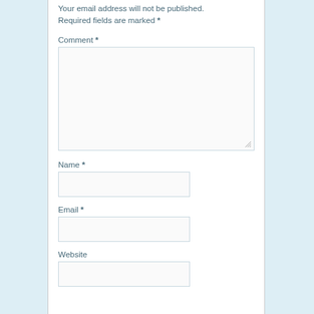Your email address will not be published. Required fields are marked *
Comment *
[Figure (other): Comment textarea input field]
Name *
[Figure (other): Name text input field]
Email *
[Figure (other): Email text input field]
Website
[Figure (other): Website text input field]